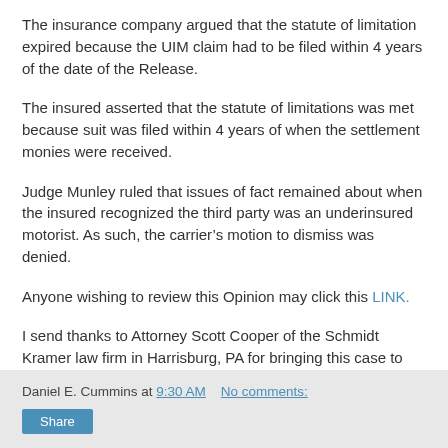The insurance company argued that the statute of limitation expired because the UIM claim had to be filed within 4 years of the date of the Release.
The insured asserted that the statute of limitations was met because suit was filed within 4 years of when the settlement monies were received.
Judge Munley ruled that issues of fact remained about when the insured recognized the third party was an underinsured motorist. As such, the carrier’s motion to dismiss was denied.
Anyone wishing to review this Opinion may click this LINK.
I send thanks to Attorney Scott Cooper of the Schmidt Kramer law firm in Harrisburg, PA for bringing this case to my attention.
Daniel E. Cummins at 9:30 AM   No comments:
Share